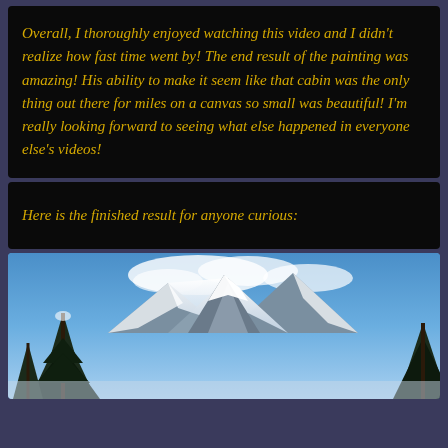Overall, I thoroughly enjoyed watching this video and I didn't realize how fast time went by! The end result of the painting was amazing! His ability to make it seem like that cabin was the only thing out there for miles on a canvas so small was beautiful! I'm really looking forward to seeing what else happened in everyone else's videos!
Here is the finished result for anyone curious:
[Figure (photo): A painting of a winter mountain landscape with snow-capped peaks, evergreen trees on the left and right sides, and a blue sky with white clouds in the background.]